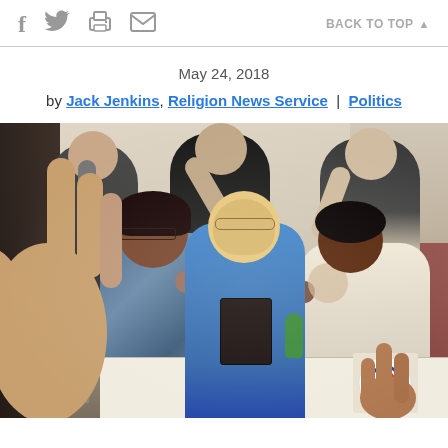BACK TO TOP
May 24, 2018
by Jack Jenkins, Religion News Service | Politics
[Figure (photo): A woman in a blue jacket holding a book is surrounded by people with raised hands in a church setting. Several people are laying hands on her in what appears to be a blessing or prayer ceremony. The scene takes place in a church with pews and religious decor visible in the background. A large raised hand is visible in the foreground left.]